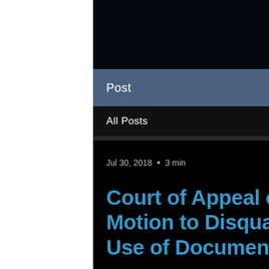[Figure (photo): Night cityscape background with city lights]
Post
All Posts
Jul 30, 2018  •  3 min
Court of Appeal of California Reserves Motion to Disqualify Pepper Hamilton for Use of Documents fro
This past Thursday, Associate Justice Richard Eybel wrote the opinion for a unanimous decision